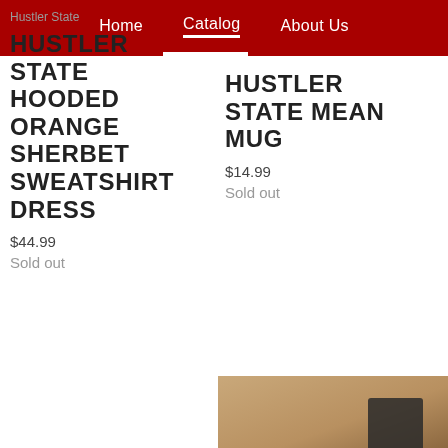Home | Catalog | About Us
Hustler State
HUSTLER STATE HOODED ORANGE SHERBET SWEATSHIRT DRESS
$44.99
Sold out
HUSTLER STATE MEAN MUG
$14.99
Sold out
[Figure (photo): Partial product photo at bottom right corner showing beige/tan fabric background with dark element]